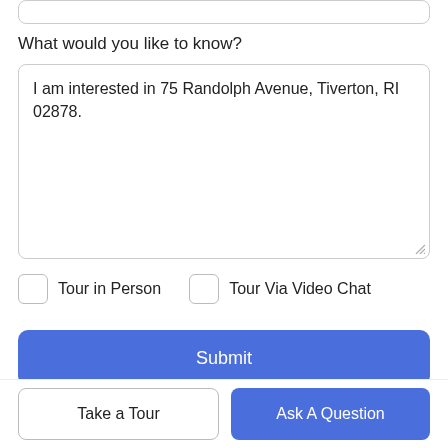What would you like to know?
I am interested in 75 Randolph Avenue, Tiverton, RI 02878.
Tour in Person
Tour Via Video Chat
Submit
Disclaimer: By entering your information and submitting this form, you agree to our Terms of Use and Privacy Policy and that you may be contacted by phone, text message and email about your inquiry.
Take a Tour
Ask A Question